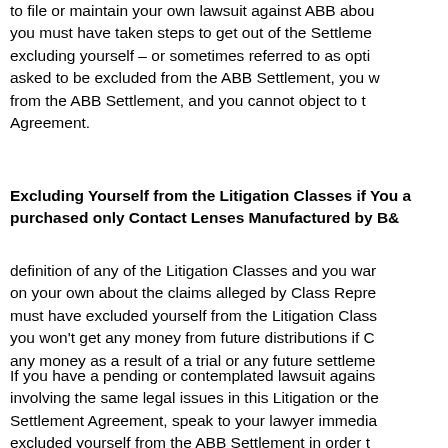to file or maintain your own lawsuit against ABB about you must have taken steps to get out of the Settlement excluding yourself – or sometimes referred to as opting asked to be excluded from the ABB Settlement, you will from the ABB Settlement, and you cannot object to the Agreement.
Excluding Yourself from the Litigation Classes if You are purchased only Contact Lenses Manufactured by B&L
definition of any of the Litigation Classes and you want on your own about the claims alleged by Class Representatives must have excluded yourself from the Litigation Classes you won't get any money from future distributions if Class any money as a result of a trial or any future settlement
If you have a pending or contemplated lawsuit against involving the same legal issues in this Litigation or the Settlement Agreement, speak to your lawyer immediately excluded yourself from the ABB Settlement in order to